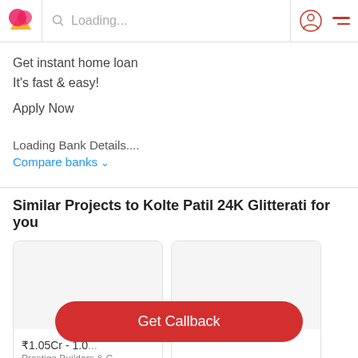Loading...
Get instant home loan
It's fast & easy!
Apply Now
Loading Bank Details....
Compare banks
Similar Projects to Kolte Patil 24K Glitterati for you
₹1.05Cr - 1.0...
Get Callback